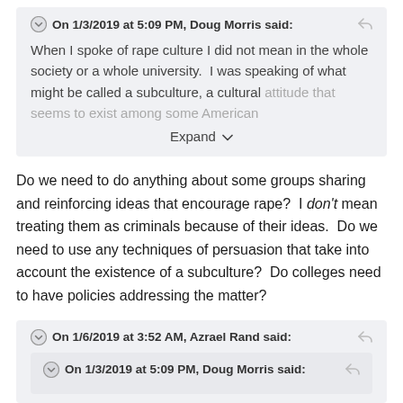On 1/3/2019 at 5:09 PM, Doug Morris said:
When I spoke of rape culture I did not mean in the whole society or a whole university.  I was speaking of what might be called a subculture, a cultural attitude that seems to exist among some American
Expand
Do we need to do anything about some groups sharing and reinforcing ideas that encourage rape?  I don't mean treating them as criminals because of their ideas.  Do we need to use any techniques of persuasion that take into account the existence of a subculture?  Do colleges need to have policies addressing the matter?
On 1/6/2019 at 3:52 AM, Azrael Rand said:
On 1/3/2019 at 5:09 PM, Doug Morris said: